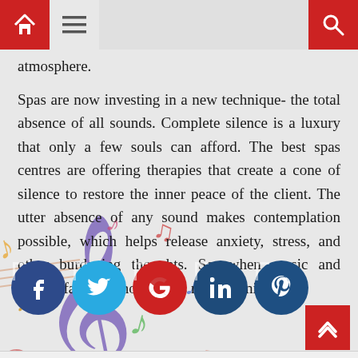[Navigation bar with home, menu, and search icons]
atmosphere.
Spas are now investing in a new technique- the total absence of all sounds. Complete silence is a luxury that only a few souls can afford. The best spas centres are offering therapies that create a cone of silence to restore the inner peace of the client. The utter absence of any sound makes contemplation possible, which helps release anxiety, stress, and other burdening thoughts. So, when music and sounds fail, why not try this new technique?
[Figure (illustration): Colorful musical notes and treble clef illustration overlaid on the text area]
[Figure (infographic): Row of social media icon circles: Facebook (dark blue), Twitter (cyan), Google (red), LinkedIn (dark blue), Pinterest (dark blue)]
[Back to top button, bottom strip]